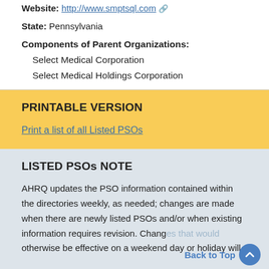Website: http://www.smptsql.com
State: Pennsylvania
Components of Parent Organizations:
Select Medical Corporation
Select Medical Holdings Corporation
PRINTABLE VERSION
Print a list of all Listed PSOs
LISTED PSOs NOTE
AHRQ updates the PSO information contained within the directories weekly, as needed; changes are made when there are newly listed PSOs and/or when existing information requires revision. Changes that would otherwise be effective on a weekend day or holiday will